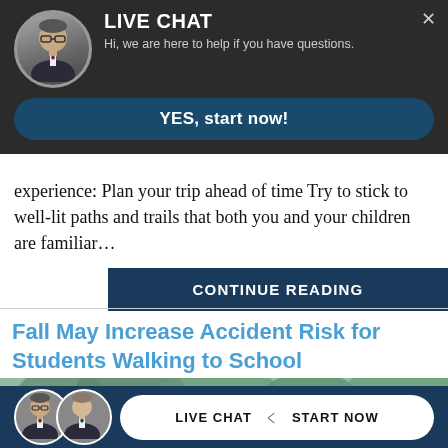[Figure (infographic): Live chat popup banner with man's portrait avatar in dark background. Title: LIVE CHAT. Subtitle: Hi, we are here to help if you have questions. Button: YES, start now! Close X button in top right.]
experience: Plan your trip ahead of time Try to stick to well-lit paths and trails that both you and your children are familiar…
[Figure (other): CONTINUE READING button, dark navy blue background with white bold uppercase text]
Fall May Increase Accident Risk for Students Walking to School
[Figure (photo): Outdoor photo with trees and greenery in background, attorney portraits at bottom left]
[Figure (infographic): Bottom live chat bar with two attorney portraits and LIVE CHAT / START NOW button in white rounded rectangle on dark navy background]